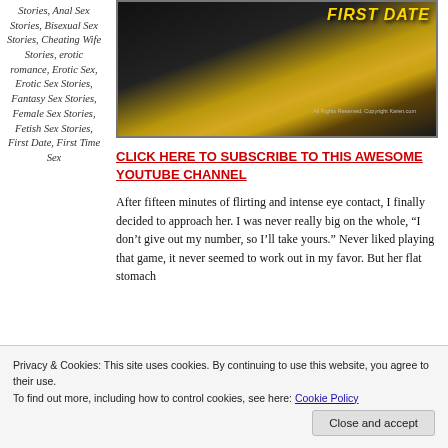Stories, Anal Sex Stories, Bisexual Sex Stories, Cheating Wife Stories, erotic romance, Erotic Sex, Erotic Sex Stories, Fantasy Sex Stories, Female Sex Stories, Fetish Sex Stories, First Date, First Time Sex
[Figure (illustration): Book cover with dark background and gold wave design, title 'FIRST DATE' in gold italic text, copyright notice]
CLICK HERE TO SUBSCRIBE TO THIS AWESOME YOUTUBE CHANNEL
After fifteen minutes of flirting and intense eye contact, I finally decided to approach her. I was never really big on the whole, “I don’t give out my number, so I’ll take yours.” Never liked playing that game, it never seemed to work out in my favor. But her flat stomach
Privacy & Cookies: This site uses cookies. By continuing to use this website, you agree to their use.
To find out more, including how to control cookies, see here: Cookie Policy
Close and accept